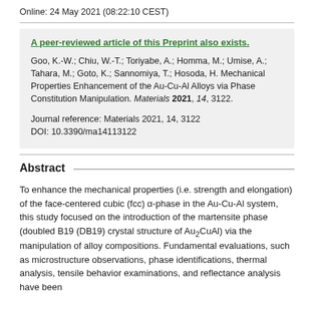Online: 24 May 2021 (08:22:10 CEST)
A peer-reviewed article of this Preprint also exists.

Goo, K.-W.; Chiu, W.-T.; Toriyabe, A.; Homma, M.; Umise, A.; Tahara, M.; Goto, K.; Sannomiya, T.; Hosoda, H. Mechanical Properties Enhancement of the Au-Cu-Al Alloys via Phase Constitution Manipulation. Materials 2021, 14, 3122.

Journal reference: Materials 2021, 14, 3122
DOI: 10.3390/ma14113122
Abstract
To enhance the mechanical properties (i.e. strength and elongation) of the face-centered cubic (fcc) α-phase in the Au-Cu-Al system, this study focused on the introduction of the martensite phase (doubled B19 (DB19) crystal structure of Au2CuAl) via the manipulation of alloy compositions. Fundamental evaluations, such as microstructure observations, phase identifications, thermal analysis, tensile behavior examinations, and reflectance analysis have been